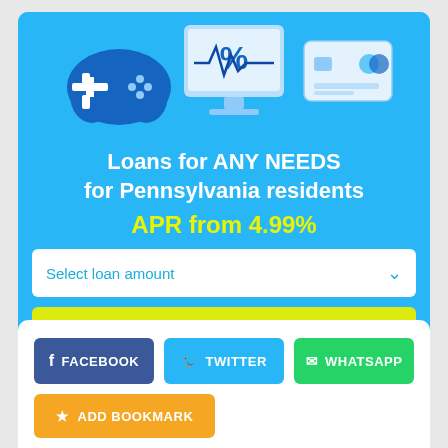[Figure (illustration): Illustration showing a game controller, desktop computer with percentage sign, heartbeat monitor line, and a credit card on a light blue background]
Loans for ANY NEEDS for Pennsylvania residents
APR from 4.99%
Select loan amount
CHECK MY RATE
FACEBOOK
TWITTER
WHATSAPP
ADD BOOKMARK